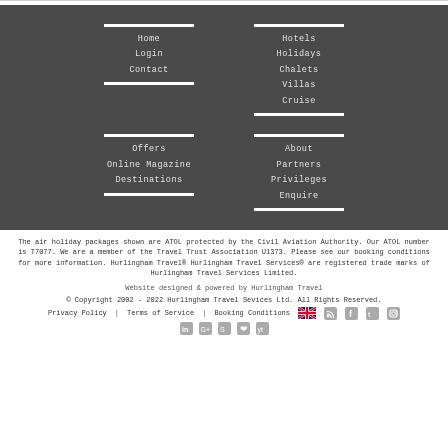Home
Login
Contact
Hotels
Holidays
Chalets
Villas
Cruise
Offers
Online Magazine
Destinations
About
Partners
Privileges
Enquire
The air holiday packages shown are ATOL protected by the Civil Aviation Authority. Our ATOL number is T7077. We are a member of the Travel Trust Association U1373. Please see our booking conditions for more information. Hurlingham Travel® Hurlingham Travel Services® are registered trade marks of Hurlingham Travel Services Limited.
Website designed & powered by Hurlingham Travel
© Copyright 2002 - 2022 Hurlingham Travel Sevices Ltd. All Rights Reserved.
Privacy Policy | Terms of Service | Booking Conditions